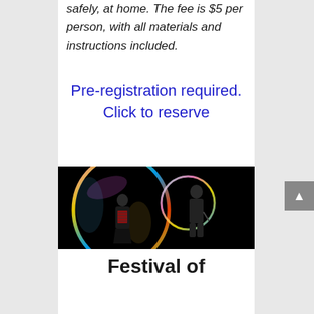safely, at home. The fee is $5 per person, with all materials and instructions included.
Pre-registration required. Click to reserve
[Figure (photo): Two performers surrounded by large iridescent soap bubbles against a black background. One person on the left holds an accordion, the other on the right holds a bubble wand inside a large circular bubble.]
Festival of